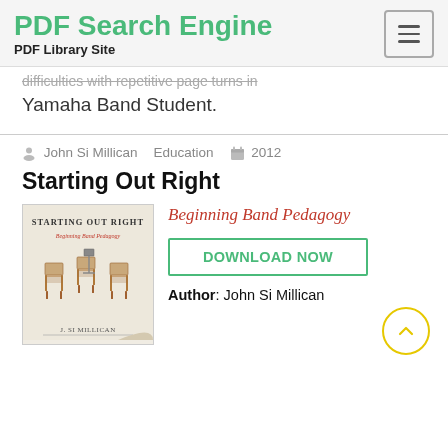PDF Search Engine — PDF Library Site
Yamaha Band Student.
John Si Millican   Education   2012
Starting Out Right
[Figure (illustration): Book cover for 'Starting Out Right: Beginning Band Pedagogy' by J. Si Millican, showing three wooden chairs and a music stand]
Beginning Band Pedagogy
DOWNLOAD NOW
Author: John Si Millican